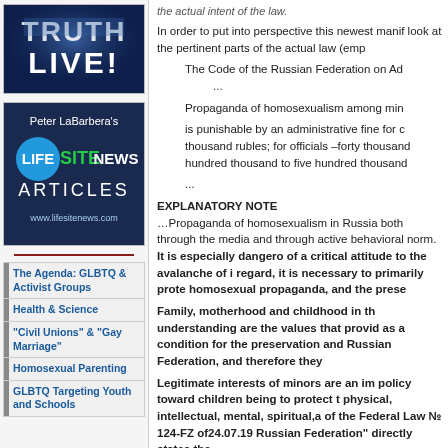[Figure (photo): Truth Live logo with blue stylized text on dark background]
[Figure (logo): Peter LaBarbera's LifeSite News Articles banner with blue circle logo and website www.lifesitenews.com]
The Agenda: GLBTQ & Activist Groups
Health & Science
"Civil Unions" & "Gay Marriage"
Homosexual Parenting
GLBTQ Targeting Youth and Schools
the actual intent of the law.
In order to put into perspective this newest manif look at the pertinent parts of the actual law (emp
The Code of the Russian Federation on Ad ...
Propaganda of homosexualism among min
is punishable by an administrative fine for c thousand rubles; for officials –forty thousand hundred thousand to five hundred thousand
...
EXPLANATORY NOTE ...Propaganda of homosexualism in Russia both through the media and through active behavioral norm. It is especially dangerous of a critical attitude to the avalanche of i regard, it is necessary to primarily prote homosexual propaganda, and the prese
Family, motherhood and childhood in the understanding are the values that provid as a condition for the preservation and Russian Federation, and therefore they
Legitimate interests of minors are an im policy toward children being to protect t physical, intellectual, mental, spiritual,a of the Federal Law № 124-FZ of24.07.19 Russian Federation" directly states the